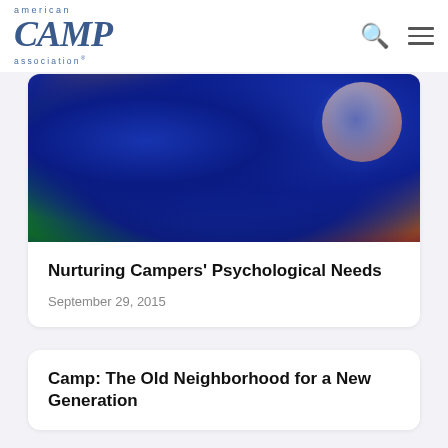american CAMP association®
[Figure (photo): Child's smiling face covered with blue and multicolored paint against a blue painted background]
Nurturing Campers' Psychological Needs
September 29, 2015
Camp: The Old Neighborhood for a New Generation